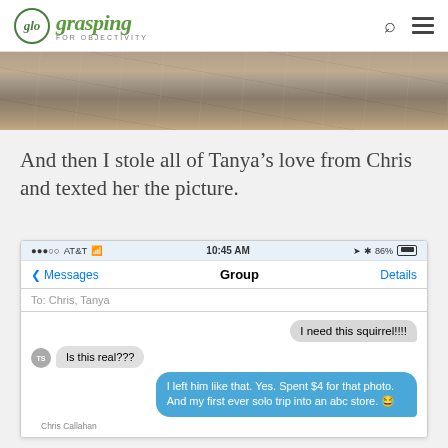glo grasping FOR OBJECTIVITY
[Figure (photo): Partial photo of a concrete sidewalk or path with dried leaves visible on the right side, top portion cut off]
And then I stole all of Tanya's love from Chris and texted her the picture.
[Figure (screenshot): iPhone text message screenshot showing a group message to Chris and Tanya. Messages include: 'I need this squirrel!!!', 'Is this real???', and 'I left him like that. Yes. Spent $4 for that photo. And my first ever solo trip into an abc store. 😂'. Bottom shows 'Chris Callahan' label.]